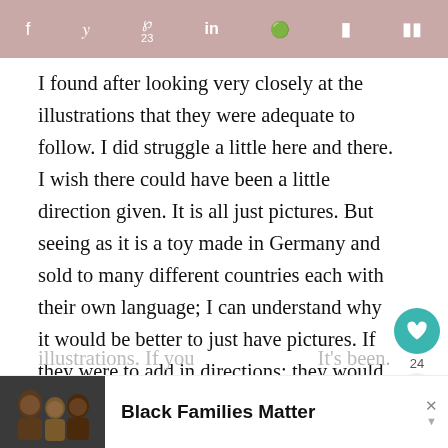f  y  p 23  in  reddit  F  m
I found after looking very closely at the illustrations that they were adequate to follow. I did struggle a little here and there. I wish there could have been a little direction given. It is all just pictures. But seeing as it is a toy made in Germany and sold to many different countries each with their own language; I can understand why it would be better to just have pictures. If they were to add in directions; they would have to do it in all the languages which would require an additional book of instructions. It would greatly increase the cost of production and thus increase the price of the toy. So; I'm ok with it just being illustrations. If you can read and like German to...
[Figure (photo): Photo of smiling Black family (adults and children) used as advertisement thumbnail]
Black Families Matter